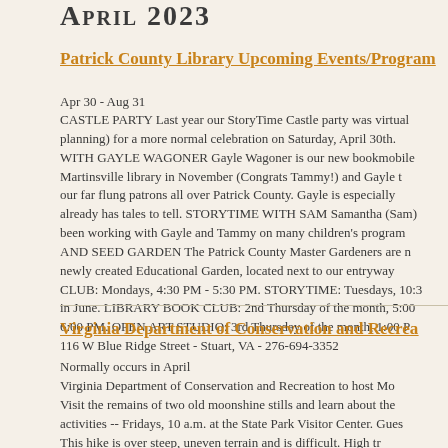April 2023
Patrick County Library Upcoming Events/Programs
Apr 30 - Aug 31
CASTLE PARTY Last year our StoryTime Castle party was virtual planning) for a more normal celebration on Saturday, April 30th. WITH GAYLE WAGONER Gayle Wagoner is our new bookmobile Martinsville library in November (Congrats Tammy!) and Gayle to our far flung patrons all over Patrick County. Gayle is especially already has tales to tell. STORYTIME WITH SAM Samantha (Sam) been working with Gayle and Tammy on many children's programs AND SEED GARDEN The Patrick County Master Gardeners are newly created Educational Garden, located next to our entryway. CLUB: Mondays, 4:30 PM - 5:30 PM. STORYTIME: Tuesdays, 10:3 in June. LIBRARY BOOK CLUB: 2nd Thursday of the month, 5:00 6:00 PM. OPEN ART STUDIO: 3rd Thursday of the month, 1:00 P 116 W Blue Ridge Street - Stuart, VA - 276-694-3352
Virginia Department of Conservation and Recreation
Normally occurs in April
Virginia Department of Conservation and Recreation to host Mo Visit the remains of two old moonshine stills and learn about the activities -- Fridays, 10 a.m. at the State Park Visitor Center. Gues This hike is over steep, uneven terrain and is difficult. High tr